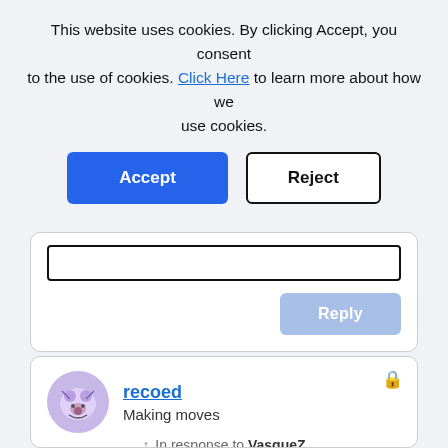This website uses cookies. By clicking Accept, you consent to the use of cookies. Click Here to learn more about how we use cookies.
[Figure (screenshot): Cookie consent banner with Accept (blue) and Reject (outlined) buttons]
[Figure (screenshot): Reply input box with a light blue Reply button on the right]
[Figure (screenshot): Comment card showing user recoed with avatar, Making moves subtitle, In response to VasqueZ, timestamp 06-08-2022 03:03 PM, and lock icon]